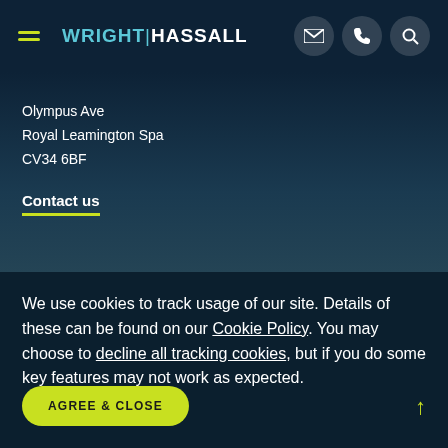[Figure (logo): Wright Hassall law firm logo with hamburger menu icon and three circular icon buttons (email, phone, search) on dark navy background]
Olympus Ave
Royal Leamington Spa
CV34 6BF
Contact us
We use cookies to track usage of our site. Details of these can be found on our Cookie Policy. You may choose to decline all tracking cookies, but if you do some key features may not work as expected.
AGREE & CLOSE